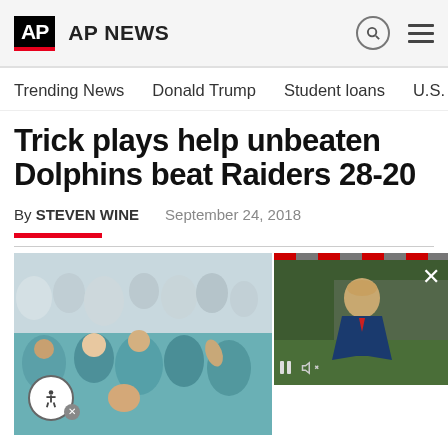AP  AP NEWS
Trending News
Donald Trump
Student loans
U.S. Open Tenn
Trick plays help unbeaten Dolphins beat Raiders 28-20
By STEVEN WINE    September 24, 2018
[Figure (photo): Miami Dolphins fans celebrating in the stands, people in teal shirts cheering]
[Figure (screenshot): Video overlay showing a man in a suit on a green background with video player controls]